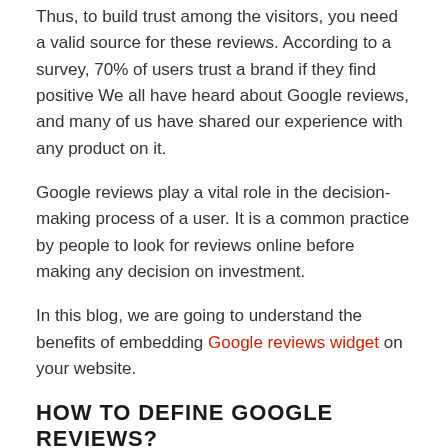Thus, to build trust among the visitors, you need a valid source for these reviews. According to a survey, 70% of users trust a brand if they find positive We all have heard about Google reviews, and many of us have shared our experience with any product on it.
Google reviews play a vital role in the decision-making process of a user. It is a common practice by people to look for reviews online before making any decision on investment.
In this blog, we are going to understand the benefits of embedding Google reviews widget on your website.
HOW TO DEFINE GOOGLE REVIEWS?
Google reviews are another prominent feature of Google My Business and Google Maps. They allow users to share their views publicly by sharing